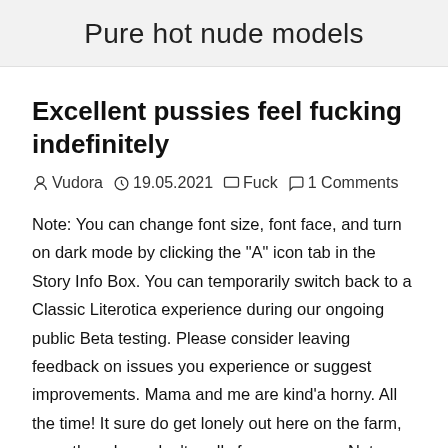Pure hot nude models
Excellent pussies feel fucking indefinitely
Vudora  19.05.2021  Fuck  1 Comments
Note: You can change font size, font face, and turn on dark mode by clicking the "A" icon tab in the Story Info Box. You can temporarily switch back to a Classic Literotica experience during our ongoing public Beta testing. Please consider leaving feedback on issues you experience or suggest improvements. Mama and me are kind'a horny. All the time! It sure do get lonely out here on the farm, even though we don't really farm anymore. Not since Daddy died a couple of years ago.